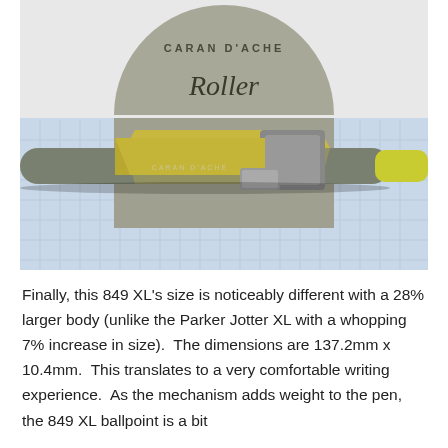[Figure (photo): Close-up photo of a Caran d'Ache 849 XL roller ballpoint pen in grey with gold clip, resting on graph paper. In the background is a grey semicircular logo reading 'CARAN D'ACHE Roller' in script.]
Finally, this 849 XL's size is noticeably different with a 28% larger body (unlike the Parker Jotter XL with a whopping 7% increase in size).  The dimensions are 137.2mm x 10.4mm.  This translates to a very comfortable writing experience.  As the mechanism adds weight to the pen, the 849 XL ballpoint is a bit